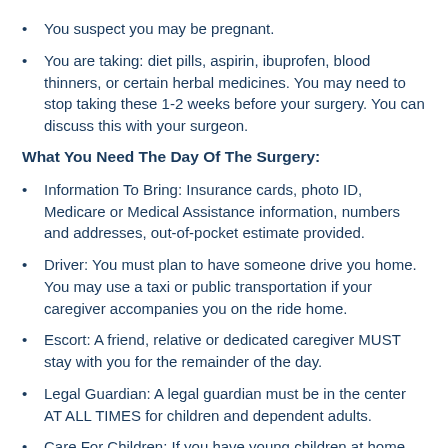You suspect you may be pregnant.
You are taking: diet pills, aspirin, ibuprofen, blood thinners, or certain herbal medicines. You may need to stop taking these 1-2 weeks before your surgery. You can discuss this with your surgeon.
What You Need The Day Of The Surgery:
Information To Bring: Insurance cards, photo ID, Medicare or Medical Assistance information, numbers and addresses, out-of-pocket estimate provided.
Driver: You must plan to have someone drive you home. You may use a taxi or public transportation if your caregiver accompanies you on the ride home.
Escort: A friend, relative or dedicated caregiver MUST stay with you for the remainder of the day.
Legal Guardian: A legal guardian must be in the center AT ALL TIMES for children and dependent adults.
Care For Children: If you have young children at home for whom you normally care for, plan for someone else to care for them for at least the first 24 hours following your